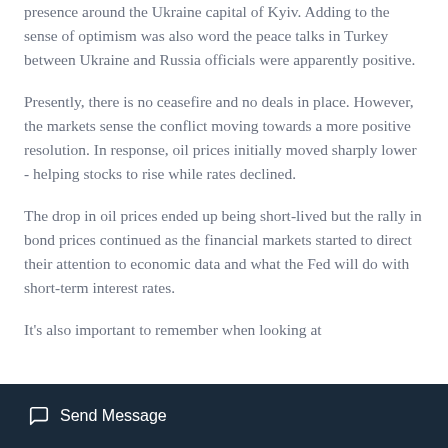presence around the Ukraine capital of Kyiv. Adding to the sense of optimism was also word the peace talks in Turkey between Ukraine and Russia officials were apparently positive.
Presently, there is no ceasefire and no deals in place. However, the markets sense the conflict moving towards a more positive resolution. In response, oil prices initially moved sharply lower - helping stocks to rise while rates declined.
The drop in oil prices ended up being short-lived but the rally in bond prices continued as the financial markets started to direct their attention to economic data and what the Fed will do with short-term interest rates.
It's also important to remember when looking at
Send Message